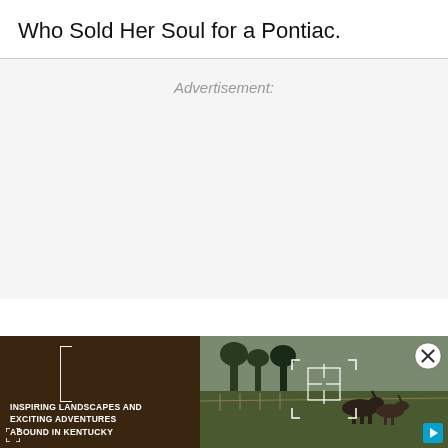Who Sold Her Soul for a Pontiac.
Advertisement:
[Figure (screenshot): Video advertisement banner showing two panels: left panel with dark brown background and white uppercase text reading 'INSPIRING LANDSCAPES AND EXCITING ADVENTURES ABOUND IN KENTUCKY', right panel showing an outdoor scene with horses in a field and trees. Close button (X in circle) in top right, crosshair reticle in center, play button bottom right, fullscreen icon bottom left of left panel, bracket/frame overlay on left panel.]